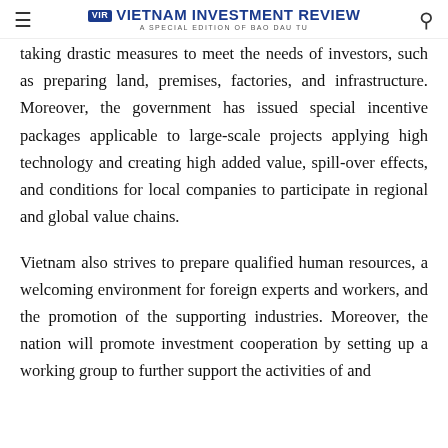Vietnam Investment Review — A Special Edition of Bao Dau Tu
taking drastic measures to meet the needs of investors, such as preparing land, premises, factories, and infrastructure. Moreover, the government has issued special incentive packages applicable to large-scale projects applying high technology and creating high added value, spill-over effects, and conditions for local companies to participate in regional and global value chains.
Vietnam also strives to prepare qualified human resources, a welcoming environment for foreign experts and workers, and the promotion of the supporting industries. Moreover, the nation will promote investment cooperation by setting up a working group to further support the activities of and